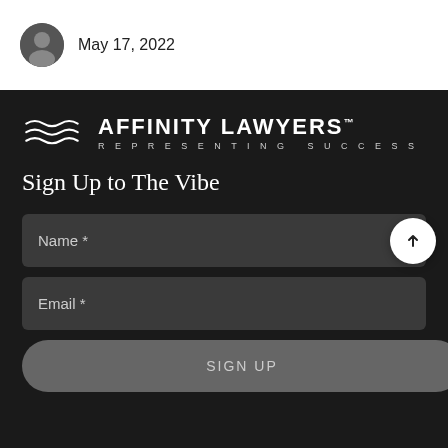May 17, 2022
[Figure (logo): Affinity Lawyers logo with wave motif and tagline REPRESENTING SUCCESS]
Sign Up to The Vibe
Name *
Email *
SIGN UP